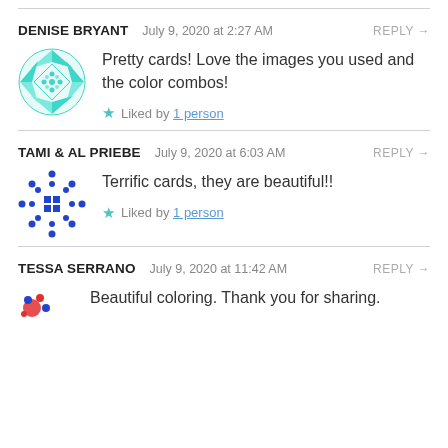DENISE BRYANT   July 9, 2020 at 2:27 AM   REPLY →
[Figure (illustration): Teal/turquoise geometric diamond-pattern circular avatar icon]
Pretty cards! Love the images you used and the color combos!
★ Liked by 1 person
TAMI & AL PRIEBE   July 9, 2020 at 6:03 AM   REPLY →
[Figure (illustration): Blue dotted/circular pattern avatar icon]
Terrific cards, they are beautiful!!
★ Liked by 1 person
TESSA SERRANO   July 9, 2020 at 11:42 AM   REPLY →
[Figure (illustration): Red and blue small dotted avatar icon]
Beautiful coloring. Thank you for sharing.